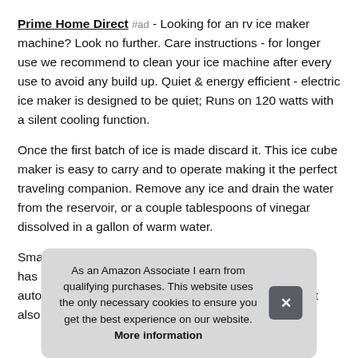Prime Home Direct #ad - Looking for an rv ice maker machine? Look no further. Care instructions - for longer use we recommend to clean your ice machine after every use to avoid any build up. Quiet & energy efficient - electric ice maker is designed to be quiet; Runs on 120 watts with a silent cooling function.
Once the first batch of ice is made discard it. This ice cube maker is easy to carry and to operate making it the perfect traveling companion. Remove any ice and drain the water from the reservoir, or a couple tablespoons of vinegar dissolved in a gallon of warm water.
Sma... has... automatically shuts off when the ice basket is full and it also
As an Amazon Associate I earn from qualifying purchases. This website uses the only necessary cookies to ensure you get the best experience on our website. More information